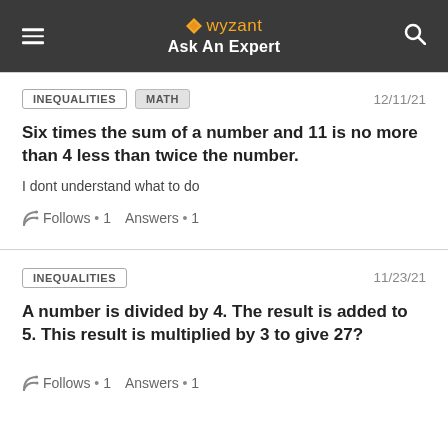wyzant Ask An Expert
INEQUALITIES  MATH  12/11/21
Six times the sum of a number and 11 is no more than 4 less than twice the number.
I dont understand what to do
Follows • 1  Answers • 1
INEQUALITIES  11/23/21
A number is divided by 4. The result is added to 5. This result is multiplied by 3 to give 27?
Follows • 1  Answers • 1